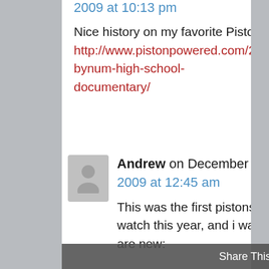2009 at 10:13 pm
Nice history on my favorite Piston Will Bynum. http://www.pistonpowered.com/2009/bynum-high-school-documentary/
REPLY
Andrew on December 29, 2009 at 12:45 am
This was the first pistons game that i've been able to watch this year, and i was wondering if a couple of things are new:
Share This ×